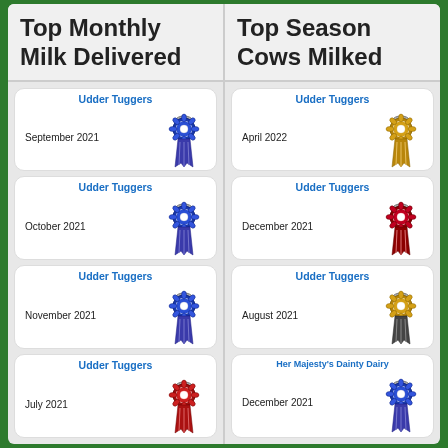Top Monthly Milk Delivered
Top Season Cows Milked
Udder Tuggers
September 2021
Udder Tuggers
October 2021
Udder Tuggers
November 2021
Udder Tuggers
July 2021
Udder Tuggers
April 2022
Udder Tuggers
December 2021
Udder Tuggers
August 2021
Her Majesty's Dainty Dairy
December 2021